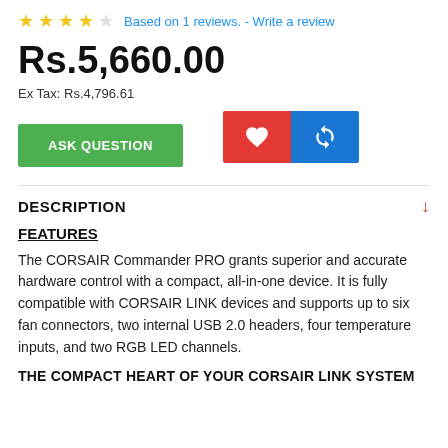★★★★☆ Based on 1 reviews.  - Write a review
Rs.5,660.00
Ex Tax: Rs.4,796.61
[Figure (other): Green ASK QUESTION button]
[Figure (other): Red heart icon button and blue compare icon button]
DESCRIPTION
FEATURES
The CORSAIR Commander PRO grants superior and accurate hardware control with a compact, all-in-one device. It is fully compatible with CORSAIR LINK devices and supports up to six fan connectors, two internal USB 2.0 headers, four temperature inputs, and two RGB LED channels.
THE COMPACT HEART OF YOUR CORSAIR LINK SYSTEM